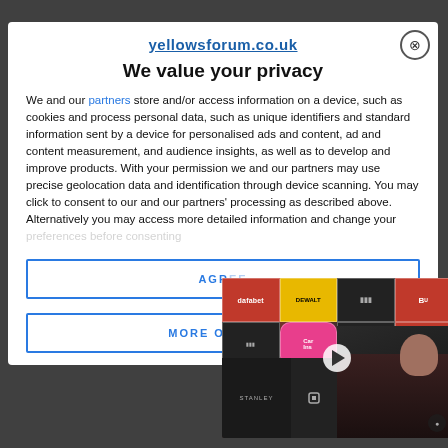yellowsforum.co.uk
We value your privacy
We and our partners store and/or access information on a device, such as cookies and process personal data, such as unique identifiers and standard information sent by a device for personalised ads and content, ad and content measurement, and audience insights, as well as to develop and improve products. With your permission we and our partners may use precise geolocation data and identification through device scanning. You may click to consent to our and our partners' processing as described above. Alternatively you may access more detailed information and change your preferences before consenting or to refuse consenting.
[Figure (screenshot): Video thumbnail showing a football press conference with a person in dark clothing, sponsor logos including dafabet, DeWalt, MSport, Stanley in background. Play button overlay in center.]
AGREE
MORE OPTIONS